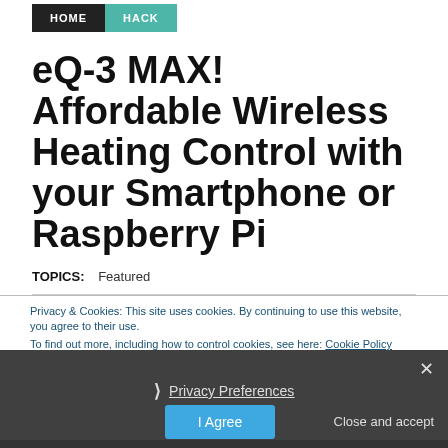HOME | HACK
eQ-3 MAX! Affordable Wireless Heating Control with your Smartphone or Raspberry Pi
TOPICS:   Featured
Privacy & Cookies: This site uses cookies. By continuing to use this website, you agree to their use.
To find out more, including how to control cookies, see here: Cookie Policy
❯  Privacy Preferences
I Agree
Close and accept